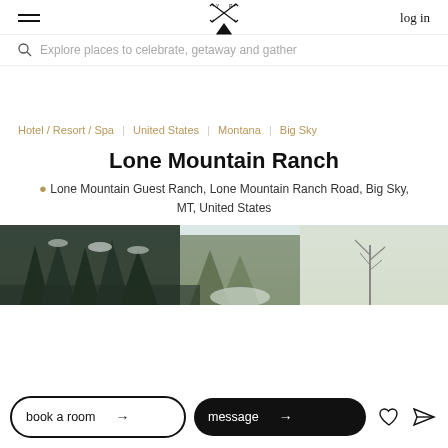log in
Explore places to celebrate, getaway and gather
Hotel / Resort / Spa | United States | Montana | Big Sky
Lone Mountain Ranch
Lone Mountain Guest Ranch, Lone Mountain Ranch Road, Big Sky, MT, United States
[Figure (photo): Outdoor winter landscape with snow-covered evergreen trees and bare branches against a light sky]
book a room → | message →